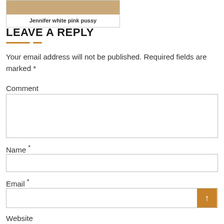[Figure (photo): Thumbnail image with caption 'Jennifer white pink pussy']
Jennifer white pink pussy
LEAVE A REPLY
Your email address will not be published. Required fields are marked *
Comment
Name *
Email *
Website